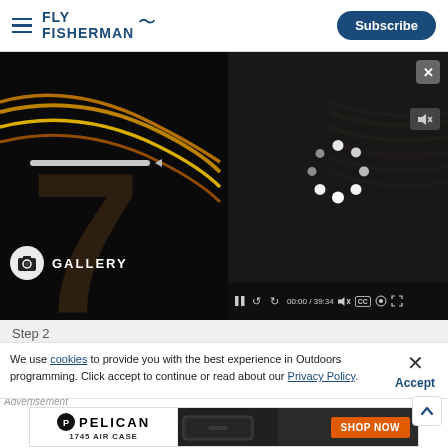FLY FISHERMAN | Subscribe
[Figure (screenshot): Video player overlay on a dark background showing fly fishing reel/line imagery. Video player shows loading spinner, controls with pause, rewind, forward, time 00:00 / 39:34, mute, CC, settings, and fullscreen buttons. A close (X) button in top right corner. Gallery label with camera icon on the lower left of the background image.]
Step 2
We use cookies to provide you with the best experience in Outdoors programming. Click accept to continue or read about our Privacy Policy.
Advertisement
[Figure (photo): Pelican 1745 Air Case advertisement banner showing PELICAN logo, '1745 AIR CASE' text, and SHOP NOW button on orange background, with image of dark rugged case on the right side.]